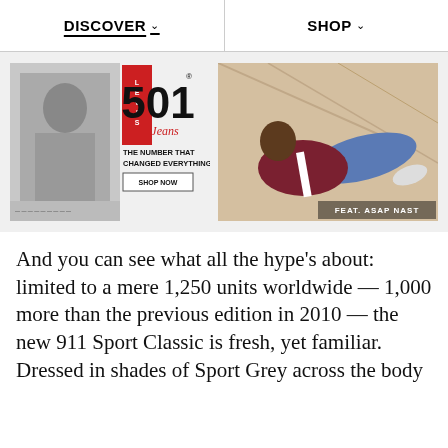DISCOVER  SHOP
[Figure (photo): Levi's 501 Jeans advertisement: black and white photo of a man on left, red Levi's logo with '501 Jeans' text and caption 'THE NUMBER THAT CHANGED EVERYTHING' with 'SHOP NOW' button]
[Figure (photo): Fashion photo of a man in jeans lounging, with text 'FEAT. ASAP NAST' in lower right corner]
And you can see what all the hype's about: limited to a mere 1,250 units worldwide — 1,000 more than the previous edition in 2010 — the new 911 Sport Classic is fresh, yet familiar. Dressed in shades of Sport Grey across the body